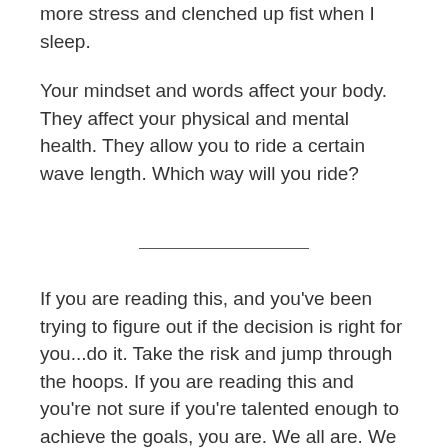more stress and clenched up fist when I sleep.
Your mindset and words affect your body. They affect your physical and mental health. They allow you to ride a certain wave length. Which way will you ride?
If you are reading this, and you've been trying to figure out if the decision is right for you...do it. Take the risk and jump through the hoops. If you are reading this and you're not sure if you're talented enough to achieve the goals, you are. We all are. We all are somewhere in the beginning. As you sit in your car